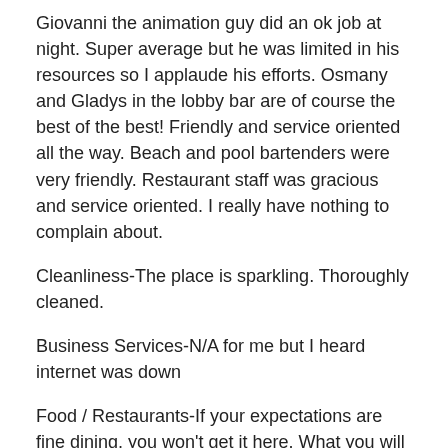Giovanni the animation guy did an ok job at night. Super average but he was limited in his resources so I applaude his efforts. Osmany and Gladys in the lobby bar are of course the best of the best! Friendly and service oriented all the way. Beach and pool bartenders were very friendly. Restaurant staff was gracious and service oriented. I really have nothing to complain about.
Cleanliness-The place is sparkling. Thoroughly cleaned.
Business Services-N/A for me but I heard internet was down
Food / Restaurants-If your expectations are fine dining, you won't get it here. What you will get however, is plenty of delicious, flavourful and varied food that unless you are completely picky (i.e. only like burgers, pizza and North American food etc) you will absolutely not starve. In fact, there is even a place onsite where you can get burgers and pizza. It's Cuba people, not Canada where we have